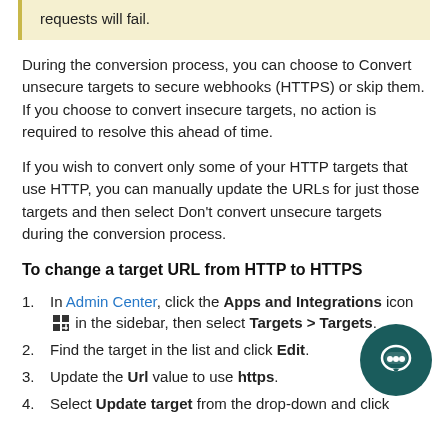requests will fail.
During the conversion process, you can choose to Convert unsecure targets to secure webhooks (HTTPS) or skip them. If you choose to convert insecure targets, no action is required to resolve this ahead of time.
If you wish to convert only some of your HTTP targets that use HTTP, you can manually update the URLs for just those targets and then select Don't convert unsecure targets during the conversion process.
To change a target URL from HTTP to HTTPS
In Admin Center, click the Apps and Integrations icon in the sidebar, then select Targets > Targets.
Find the target in the list and click Edit.
Update the Url value to use https.
Select Update target from the drop-down and click Submit.